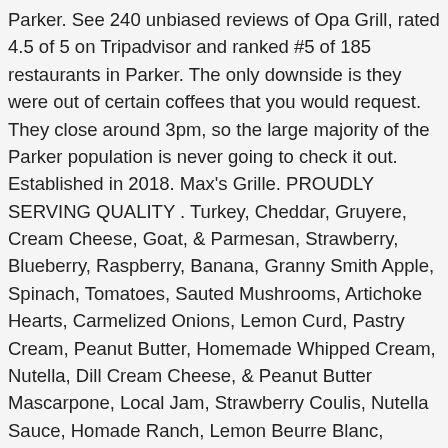Parker. See 240 unbiased reviews of Opa Grill, rated 4.5 of 5 on Tripadvisor and ranked #5 of 185 restaurants in Parker. The only downside is they were out of certain coffees that you would request. They close around 3pm, so the large majority of the Parker population is never going to check it out. Established in 2018. Max's Grille. PROUDLY SERVING QUALITY . Turkey, Cheddar, Gruyere, Cream Cheese, Goat, & Parmesan, Strawberry, Blueberry, Raspberry, Banana, Granny Smith Apple, Spinach, Tomatoes, Sauted Mushrooms, Artichoke Hearts, Carmelized Onions, Lemon Curd, Pastry Cream, Peanut Butter, Homemade Whipped Cream, Nutella, Dill Cream Cheese, & Peanut Butter Mascarpone, Local Jam, Strawberry Coulis, Nutella Sauce, Homade Ranch, Lemon Beurre Blanc, Hollandaise, Balsamic Glaze, Salsa Roja, Espresso, & equal parts water and steamed milk, Espresso and steamed milk, add flavor (vanilla, caramel, cinnamon), Espresso, & equal parts steamed milk and foam, Semi-Sweet Chocolate, espresso, and steamed milk, White Chocolate Sauce, espresso, and steamed milk. My favorite crepes are gluten-free mixed berries with pastry cream, peanut-